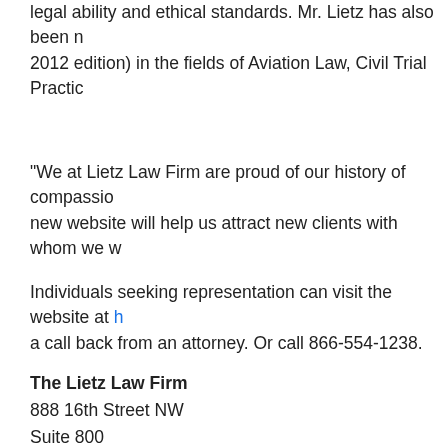legal ability and ethical standards. Mr. Lietz has also been named (2012 edition) in the fields of Aviation Law, Civil Trial Practice
“We at Lietz Law Firm are proud of our history of compassionate… new website will help us attract new clients with whom we w…
Individuals seeking representation can visit the website at h… a call back from an attorney. Or call 866-554-1238.
The Lietz Law Firm
888 16th Street NW
Suite 800
Washington, DC 20006
Call: 202.349.9869